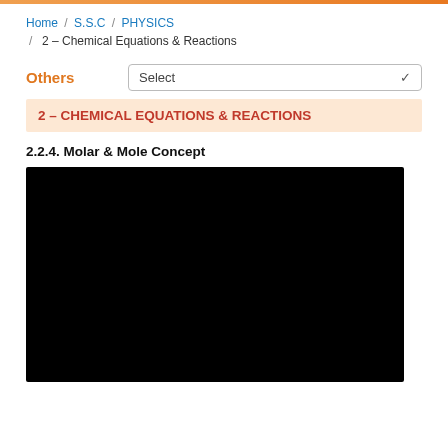Home / S.S.C / PHYSICS / 2 – Chemical Equations & Reactions
Others   Select
2 – CHEMICAL EQUATIONS & REACTIONS
2.2.4. Molar & Mole Concept
[Figure (other): Black video player placeholder rectangle]